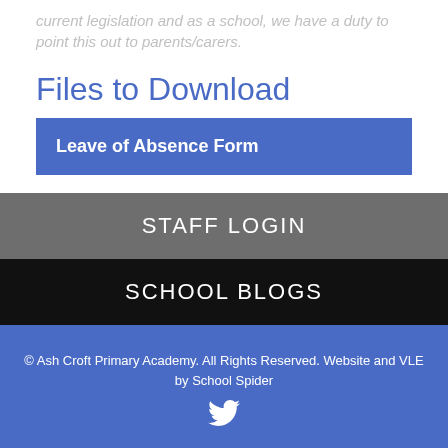current legislation and as a school, we have a duty to point this out to parents/carers.
Files to Download
Leave of Absence Form
STAFF LOGIN
SCHOOL BLOGS
© Ash Croft Primary Academy. All Rights Reserved. Website and VLE by School Spider